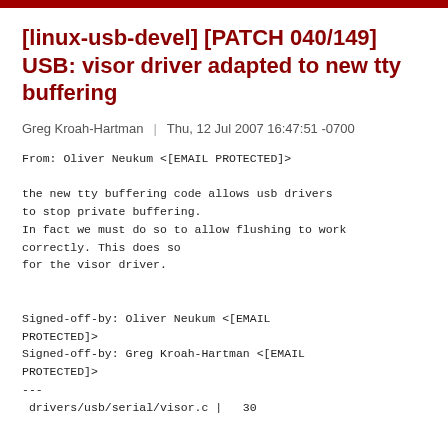[linux-usb-devel] [PATCH 040/149] USB: visor driver adapted to new tty buffering
Greg Kroah-Hartman | Thu, 12 Jul 2007 16:47:51 -0700
From: Oliver Neukum <[EMAIL PROTECTED]>

the new tty buffering code allows usb drivers
to stop private buffering.
In fact we must do so to allow flushing to work
correctly. This does so
for the visor driver.


Signed-off-by: Oliver Neukum <[EMAIL
PROTECTED]>
Signed-off-by: Greg Kroah-Hartman <[EMAIL
PROTECTED]>
---
 drivers/usb/serial/visor.c |   30